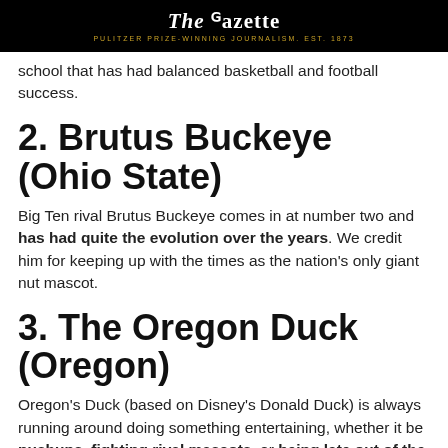The Gazette — PULITZER PRIZE-WINNING JOURNALISM. EST. 1873
school that has had balanced basketball and football success.
2. Brutus Buckeye (Ohio State)
Big Ten rival Brutus Buckeye comes in at number two and has had quite the evolution over the years. We credit him for keeping up with the times as the nation's only giant nut mascot.
3. The Oregon Duck (Oregon)
Oregon's Duck (based on Disney's Donald Duck) is always running around doing something entertaining, whether it be pushups, fighting rival mascots, or being late out of the tunnel at the team's biggest